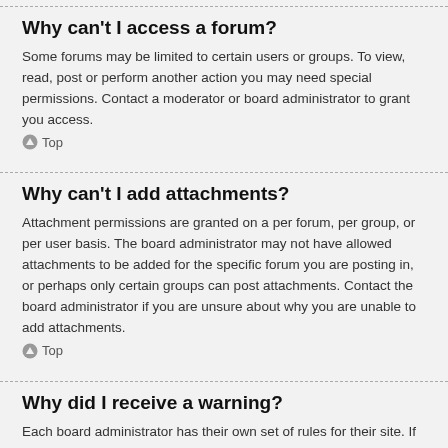Why can't I access a forum?
Some forums may be limited to certain users or groups. To view, read, post or perform another action you may need special permissions. Contact a moderator or board administrator to grant you access.
⬆ Top
Why can't I add attachments?
Attachment permissions are granted on a per forum, per group, or per user basis. The board administrator may not have allowed attachments to be added for the specific forum you are posting in, or perhaps only certain groups can post attachments. Contact the board administrator if you are unsure about why you are unable to add attachments.
⬆ Top
Why did I receive a warning?
Each board administrator has their own set of rules for their site. If you have broken a rule, you may be issued a warning. Please note that this is the board administrator's decision, and the phpBB Limited has nothing to do with the warnings on the given site. Contact the board administrator if